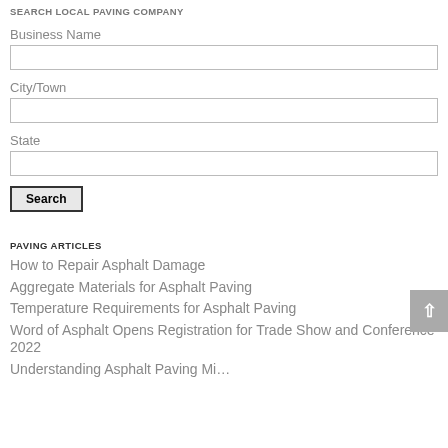SEARCH LOCAL PAVING COMPANY
Business Name
City/Town
State
Search
PAVING ARTICLES
How to Repair Asphalt Damage
Aggregate Materials for Asphalt Paving
Temperature Requirements for Asphalt Paving
Word of Asphalt Opens Registration for Trade Show and Conference 2022
Understanding Asphalt Paving Mi…